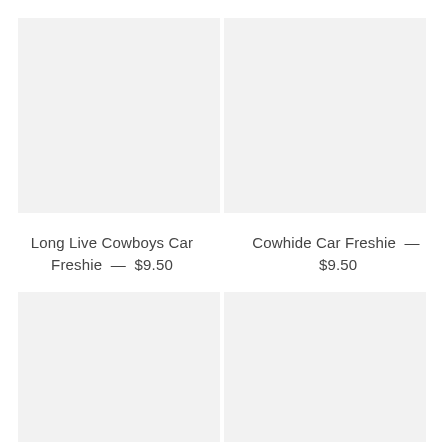[Figure (photo): Product image placeholder - top left, light gray background]
[Figure (photo): Product image placeholder - top right, light gray background]
Long Live Cowboys Car Freshie — $9.50
Cowhide Car Freshie — $9.50
[Figure (photo): Product image placeholder - bottom left, light gray background]
[Figure (photo): Product image placeholder - bottom right, light gray background]